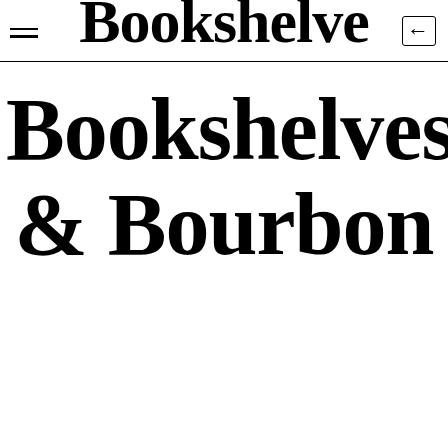Bookshelves & Bourbon
Bookshelves & Bourbon